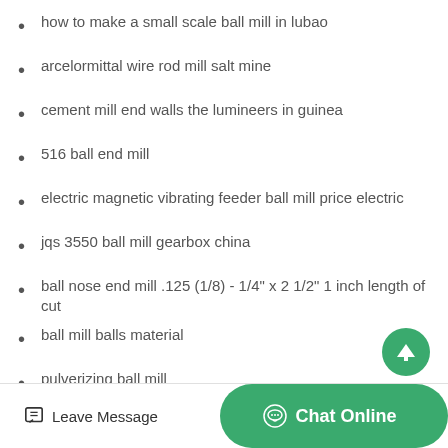how to make a small scale ball mill in lubao
arcelormittal wire rod mill salt mine
cement mill end walls the lumineers in guinea
516 ball end mill
electric magnetic vibrating feeder ball mill price electric
jqs 3550 ball mill gearbox china
ball nose end mill .125 (1/8) - 1/4" x 2 1/2" 1 inch length of cut
ball mill balls material
pulverizing ball mill
ball ore ball mill dressing 40 cm ore diameter
Leave Message  Chat Online